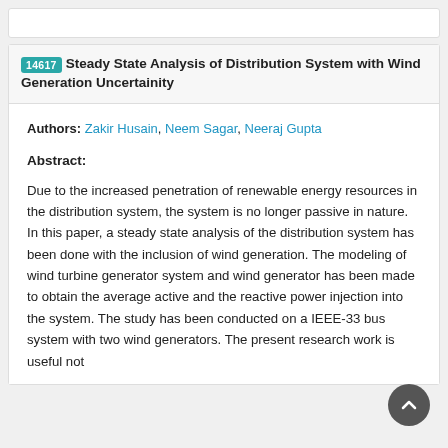14617 Steady State Analysis of Distribution System with Wind Generation Uncertainity
Authors: Zakir Husain, Neem Sagar, Neeraj Gupta
Abstract:
Due to the increased penetration of renewable energy resources in the distribution system, the system is no longer passive in nature. In this paper, a steady state analysis of the distribution system has been done with the inclusion of wind generation. The modeling of wind turbine generator system and wind generator has been made to obtain the average active and the reactive power injection into the system. The study has been conducted on a IEEE-33 bus system with two wind generators. The present research work is useful not